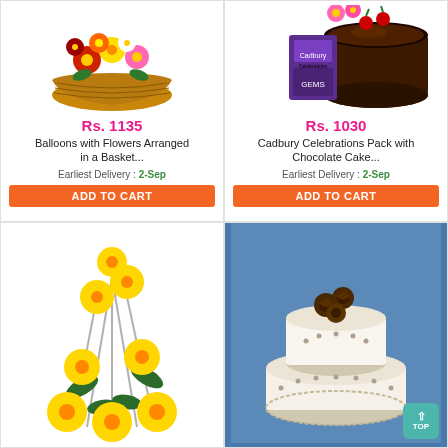[Figure (photo): Basket of colorful mixed flowers including gerberas, chrysanthemums in a wicker basket]
Rs. 1135
Balloons with Flowers Arranged in a Basket...
Earliest Delivery : 2-Sep
ADD TO CART
[Figure (photo): Cadbury Celebrations chocolate pack next to a chocolate cake with cherries on top, and flowers behind]
Rs. 1030
Cadbury Celebrations Pack with Chocolate Cake...
Earliest Delivery : 2-Sep
ADD TO CART
[Figure (photo): Arrangement of yellow gerbera daisies with green leaves and silver decorative branches]
[Figure (photo): Two-tier white fondant cake with chocolate rose decorations on top, on blue background]